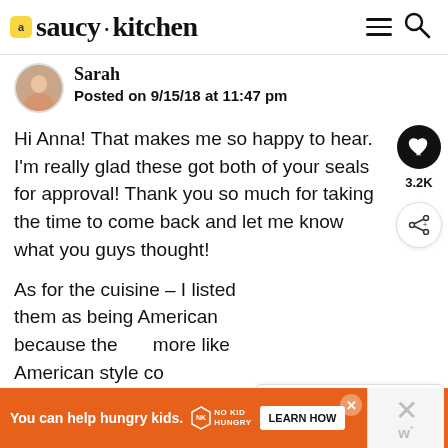saucy kitchen
Sarah
Posted on 9/15/18 at 11:47 pm
Hi Anna! That makes me so happy to hear. I'm really glad these got both of your seals for approval! Thank you so much for taking the time to come back and let me know what you guys thought!
As for the cuisine – I listed them as being American because the more like American style co. scones as opposed to traditional
[Figure (other): WHAT'S NEXT arrow with thumbnail image: Gluten Free Vegan...]
You can help hungry kids. NO KID HUNGRY LEARN HOW